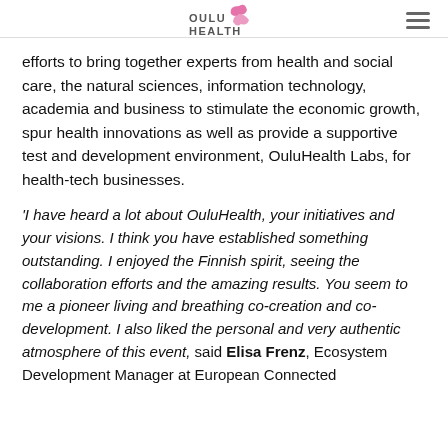OULU HEALTH
efforts to bring together experts from health and social care, the natural sciences, information technology, academia and business to stimulate the economic growth, spur health innovations as well as provide a supportive test and development environment, OuluHealth Labs, for health-tech businesses.
'I have heard a lot about OuluHealth, your initiatives and your visions. I think you have established something outstanding. I enjoyed the Finnish spirit, seeing the collaboration efforts and the amazing results. You seem to me a pioneer living and breathing co-creation and co-development. I also liked the personal and very authentic atmosphere of this event, said Elisa Frenz, Ecosystem Development Manager at European Connected